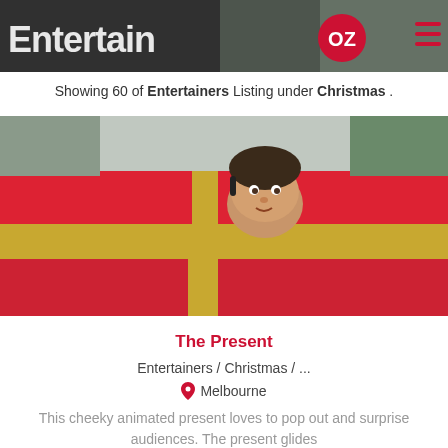[Figure (screenshot): EntertainOZ website header banner with logo on dark background and hamburger menu icon in red on the right]
Showing 60 of Entertainers Listing under Christmas .
[Figure (photo): A person's head popping out of a large red gift box wrapped with gold ribbon, outdoors]
The Present
Entertainers / Christmas / ...
Melbourne
This cheeky animated present loves to pop out and surprise audiences. The present glides